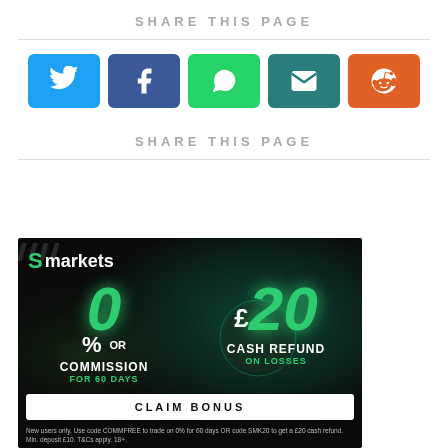SHARE THIS PAGE
[Figure (infographic): Social sharing buttons: Twitter (blue), Facebook (dark blue), WhatsApp (green), Email (teal), Reddit (orange), each as colored rounded rectangles with white icons]
SHARE THIS PAGE
[Figure (infographic): Smarkets advertisement: 0% COMMISSION FOR 60 DAYS OR £20 CASH REFUND ON LOSSES. CLAIM BONUS button. Fine print: New users only. Use code COMMFREE to trade on 0% for 60 days OR code SMK20 to get a £20 cash refund. Min. deposit £10. T&Cs apply. 18+.]